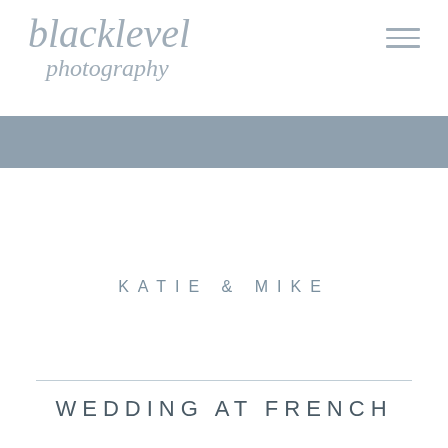blacklevel photography
[Figure (logo): Blacklevel Photography logo in cursive/script gray text with hamburger menu icon]
KATIE & MIKE
WEDDING AT FRENCH